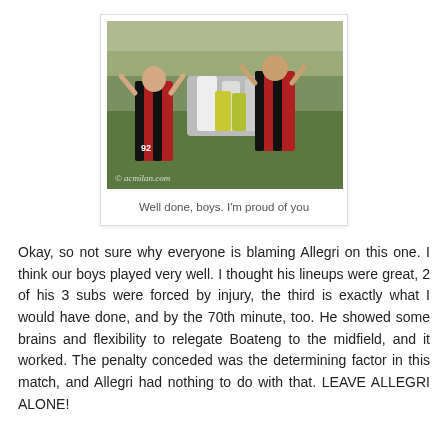[Figure (photo): AC Milan players in red and black striped jerseys on a football pitch, applauding, with crowd in background. Watermark: © acmilan.com]
Well done, boys. I'm proud of you
Okay, so not sure why everyone is blaming Allegri on this one. I think our boys played very well. I thought his lineups were great, 2 of his 3 subs were forced by injury, the third is exactly what I would have done, and by the 70th minute, too. He showed some brains and flexibility to relegate Boateng to the midfield, and it worked. The penalty conceded was the determining factor in this match, and Allegri had nothing to do with that. LEAVE ALLEGRI ALONE!